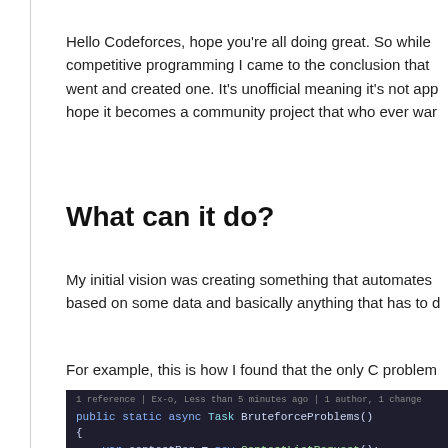Hello Codeforces, hope you're all doing great. So while competitive programming I came to the conclusion that went and created one. It's unofficial meaning it's not app hope it becomes a community project that who ever war
What can it do?
My initial vision was creating something that automates based on some data and basically anything that has to d
For example, this is how I found that the only C problem
[Figure (screenshot): Code editor screenshot showing C# code with dark background. Shows: '1 reference | Ex-o, Less than 5 minutes ago | 1 author, 1 change', 'public static async Task BruteforceProblems()', '{', '    var contestReq = new ContestListRequest();', '    var contests = await contestReq.GetContestListAsync(in']